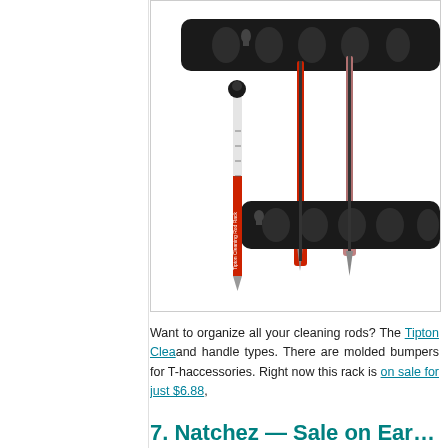[Figure (photo): Photo of a tool organizer rack (Tipton Cleaning Rod Rack) holding multiple cleaning rods and screwdrivers. The rack is black with molded bumpers, and the rods include a red-and-clear liquid-filled rod and two screwdrivers with red handles.]
Want to organize all your cleaning rods? The Tipton Clea... and handle types. There are molded bumpers for T-h... accessories. Right now this rack is on sale for just $6.88,
7. Natchez — Sale on EarMuffs, E...